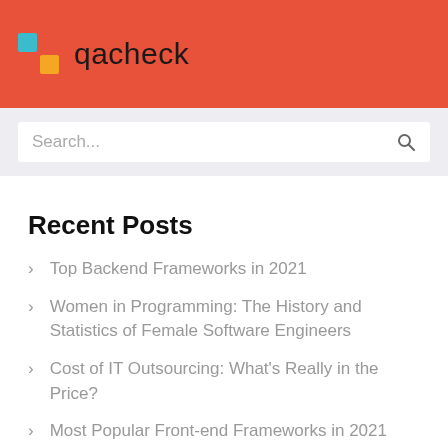qacheck
Search...
Recent Posts
Top Backend Frameworks in 2021
Women in Programming: The History and Statistics of Female Software Engineers
Cost of IT Outsourcing: What's Really in the Price?
Most Popular Front-end Frameworks in 2021
How to Hire the Right Nearshore Software Development Company